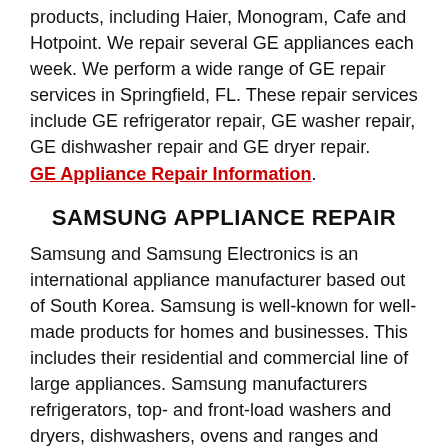products, including Haier, Monogram, Cafe and Hotpoint. We repair several GE appliances each week. We perform a wide range of GE repair services in Springfield, FL. These repair services include GE refrigerator repair, GE washer repair, GE dishwasher repair and GE dryer repair. GE Appliance Repair Information.
SAMSUNG APPLIANCE REPAIR
Samsung and Samsung Electronics is an international appliance manufacturer based out of South Korea. Samsung is well-known for well-made products for homes and businesses. This includes their residential and commercial line of large appliances. Samsung manufacturers refrigerators, top- and front-load washers and dryers, dishwashers, ovens and ranges and more. CRT Appliance Repair offers a wide range of Samsung repair services in Springfield, FL. These repair services include Samsung washing machine repair, Samsung refrigerator repair, Samsung dryer repair and Samsung dishwasher repair. Samsung Appliance Repair...